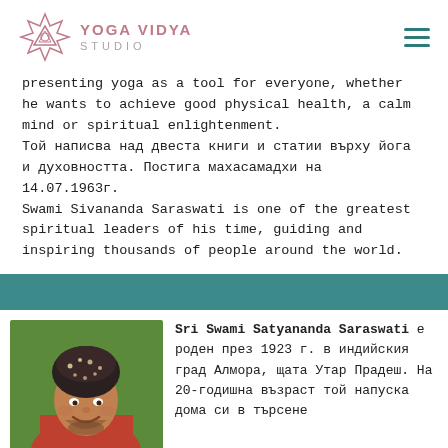YOGA VIDYA STUDIO
presenting yoga as a tool for everyone, whether he wants to achieve good physical health, a calm mind or spiritual enlightenment.
Той написва над двеста книги и статии върху йога и духовността. Постига махасамадхи на 14.07.1963г.
Swami Sivananda Saraswati is one of the greatest spiritual leaders of his time, guiding and inspiring thousands of people around the world.
[Figure (photo): Portrait photo of Sri Swami Satyananda Saraswati, an elderly man wearing a dark patterned turban, smiling warmly]
Sri Swami Satyananda Saraswati е роден през 1923 г. в индийския град Алмора, щата Утар Прадеш. На 20-годишна възраст той напуска дома си в търсене